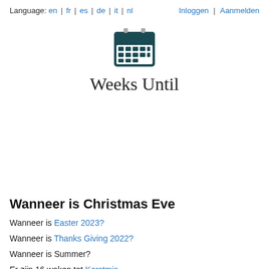Language: en | fr | es | de | it | nl   Inloggen | Aanmelden
[Figure (illustration): Calendar icon — dark teal/navy calendar emoji with grid of squares]
Weeks Until
Wanneer is Christmas Eve
Wanneer is Easter 2023?
Wanneer is Thanks Giving 2022?
Wanneer is Summer?
Er zijn 16 weken tot Kerstmis